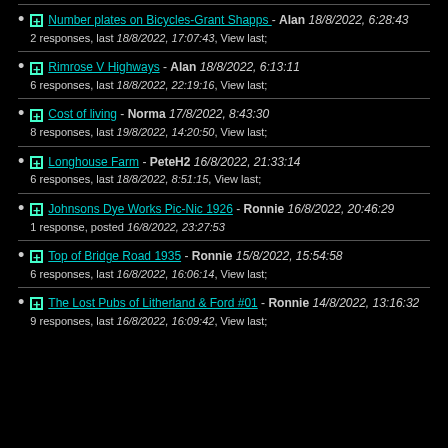Number plates on Bicycles-Grant Shapps - Alan 18/8/2022, 6:28:43
2 responses, last 18/8/2022, 17:07:43, View last;
Rimrose V Highways - Alan 18/8/2022, 6:13:11
6 responses, last 18/8/2022, 22:19:16, View last;
Cost of living - Norma 17/8/2022, 8:43:30
8 responses, last 19/8/2022, 14:20:50, View last;
Longhouse Farm - PeteH2 16/8/2022, 21:33:14
6 responses, last 18/8/2022, 8:51:15, View last;
Johnsons Dye Works Pic-Nic 1926 - Ronnie 16/8/2022, 20:46:29
1 response, posted 16/8/2022, 23:27:53
Top of Bridge Road 1935 - Ronnie 15/8/2022, 15:54:58
6 responses, last 16/8/2022, 16:06:14, View last;
The Lost Pubs of Litherland & Ford #01 - Ronnie 14/8/2022, 13:16:32
9 responses, last 16/8/2022, 16:09:42, View last;